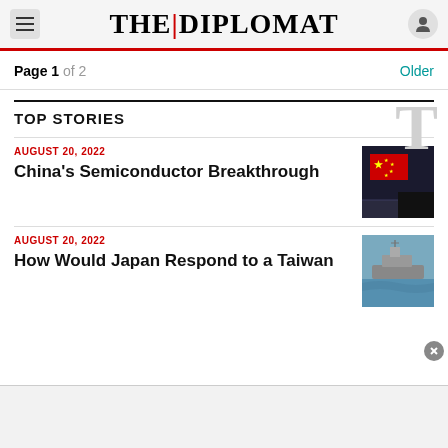THE|DIPLOMAT
Page 1 of 2  Older
TOP STORIES
AUGUST 20, 2022
China's Semiconductor Breakthrough
[Figure (photo): China flag over semiconductor circuit board]
AUGUST 20, 2022
How Would Japan Respond to a Taiwan
[Figure (photo): Naval vessel at sea]